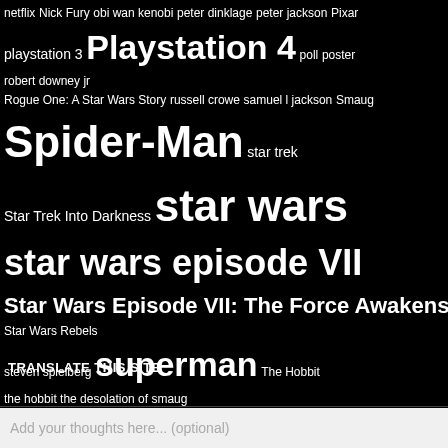netflix Nick Fury obi wan kenobi peter dinklage peter jackson Pixar playstation 3 Playstation 4 poll poster robert downey jr Rogue One: A Star Wars Story russell crowe samuel l jackson Smaug Spider-Man star trek Star Trek Into Darkness star wars star wars episode VII Star Wars Episode VII: The Force Awakens Star Wars Rebels steven spielberg superman The Hobbit the hobbit the desolation of smaug The Walking Dead Thor thorin oakenshield Thor The Dark World Tom Cruise tom hanks Tom Hiddleston top 5 trailer TV video games Vin Diesel Wolverine Wonder Woman Woody Harrelson writing X-Men x-men days of future past Xbox xbox 360 XBOX One Yoda zack snyder Zoe Saldana zombies
TRANSLATE THIS SITE
Add your thoughts here... (optional)